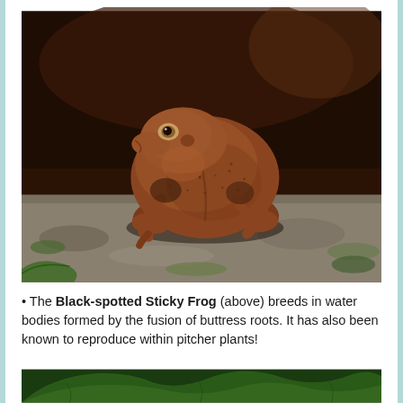[Figure (photo): Close-up photograph of a Black-spotted Sticky Frog (reddish-brown color with granular skin texture) perched on a rock surface. The frog is shown in profile, sitting upright with its front legs extended. Background is dark brown/out of focus. The rock surface shows greenish moss patches.]
• The Black-spotted Sticky Frog (above) breeds in water bodies formed by the fusion of buttress roots. It has also been known to reproduce within pitcher plants!
[Figure (photo): Partial photograph showing green tropical foliage/leaves at the bottom of the page.]